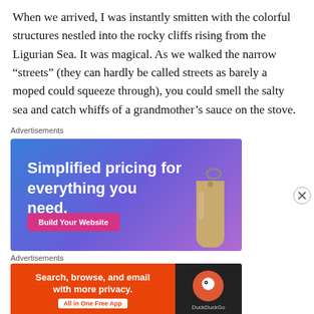When we arrived, I was instantly smitten with the colorful structures nestled into the rocky cliffs rising from the Ligurian Sea. It was magical. As we walked the narrow “streets” (they can hardly be called streets as barely a moped could squeeze through), you could smell the salty sea and catch whiffs of a grandmother’s sauce on the stove.
Advertisements
[Figure (screenshot): Advertisement banner: 'Simplified pricing for everything you need.' with a pink 'Build Your Website' button on a blue-purple gradient background, with a price tag image on the right.]
Advertisements
[Figure (screenshot): DuckDuckGo advertisement banner: 'Search, browse, and email with more privacy. All in One Free App' on orange background with DuckDuckGo logo on dark background on the right.]